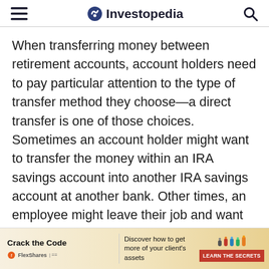Investopedia
When transferring money between retirement accounts, account holders need to pay particular attention to the type of transfer method they choose—a direct transfer is one of those choices. Sometimes an account holder might want to transfer the money within an IRA savings account into another IRA savings account at another bank. Other times, an employee might leave their job and want to transfer their 401(k) balance into an IRA or the 401(k) at the person's new job. These transfers are often called a rollover, and the IRS has outlined a few ways in which this can be done.
Types of IRA Rollov...
[Figure (other): Advertisement banner for FlexShares: 'Crack the Code — Discover how to get more of your client's assets — LEARN THE SECRETS']